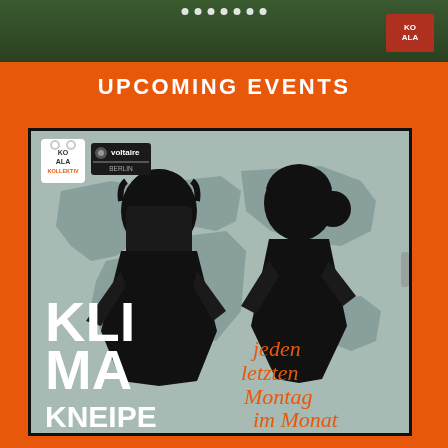[Figure (photo): Top banner photo showing tropical green plants/vegetation]
UPCOMING EVENTS
[Figure (illustration): Klimakneipe event poster. Black and white graphic illustration of two figures facing each other against a world map background. Text reads: KLI MA KNEIPE, jeden letzten Montag im Monat. Logos: Koala Kollektiv and Voltaire top left.]